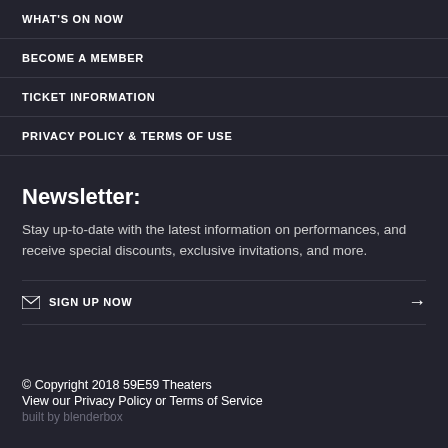WHAT'S ON NOW
BECOME A MEMBER
TICKET INFORMATION
PRIVACY POLICY & TERMS OF USE
Newsletter:
Stay up-to-date with the latest information on performances, and receive special discounts, exclusive invitations, and more.
SIGN UP NOW
© Copyright 2018 59E59 Theaters
View our Privacy Policy or Terms of Service
built by blenderbox